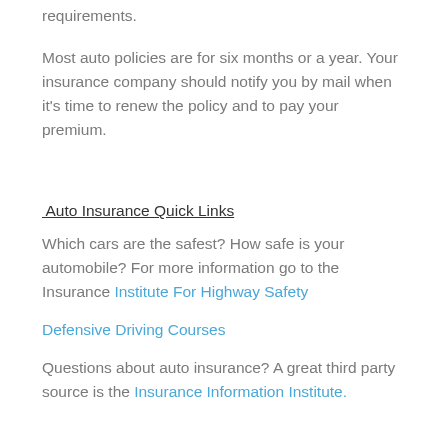requirements.
Most auto policies are for six months or a year. Your insurance company should notify you by mail when it's time to renew the policy and to pay your premium.
Auto Insurance Quick Links
Which cars are the safest? How safe is your automobile? For more information go to the Insurance Institute For Highway Safety
Defensive Driving Courses
Questions about auto insurance? A great third party source is the Insurance Information Institute.